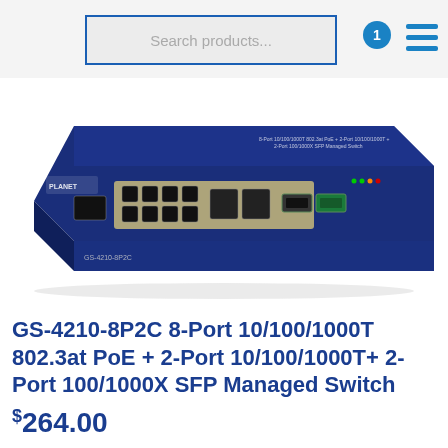Search products...
[Figure (photo): PLANET GS-4210-8P2C network managed switch — dark blue 1U rackmount unit with 8 RJ45 PoE ports, 2 combo RJ45/SFP ports, and 2 SFP slots visible on the front panel]
GS-4210-8P2C 8-Port 10/100/1000T 802.3at PoE + 2-Port 10/100/1000T+ 2-Port 100/1000X SFP Managed Switch
$264.00